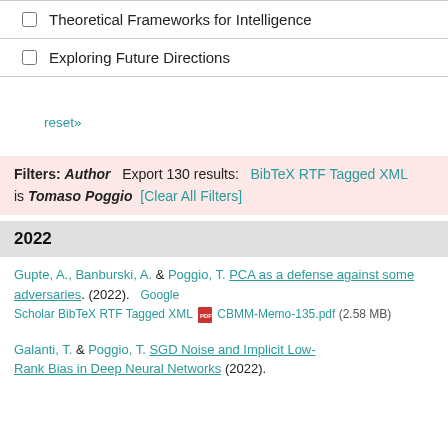Theoretical Frameworks for Intelligence
Exploring Future Directions
reset»
Filters: Author is Tomaso Poggio  Export 130 results:  BibTeX RTF Tagged XML  [Clear All Filters]
2022
Gupte, A., Banburski, A. & Poggio, T. PCA as a defense against some adversaries. (2022).  Google Scholar BibTeX RTF Tagged XML  CBMM-Memo-135.pdf (2.58 MB)
Galanti, T. & Poggio, T. SGD Noise and Implicit Low-Rank Bias in Deep Neural Networks (2022).